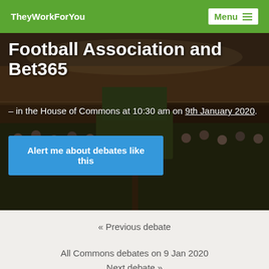TheyWorkForYou  Menu
Football Association and Bet365
– in the House of Commons at 10:30 am on 9th January 2020.
Alert me about debates like this
« Previous debate
All Commons debates on 9 Jan 2020
Next debate »
Speaker Hearing...